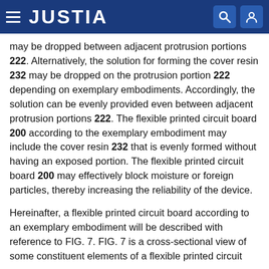JUSTIA
may be dropped between adjacent protrusion portions 222. Alternatively, the solution for forming the cover resin 232 may be dropped on the protrusion portion 222 depending on exemplary embodiments. Accordingly, the solution can be evenly provided even between adjacent protrusion portions 222. The flexible printed circuit board 200 according to the exemplary embodiment may include the cover resin 232 that is evenly formed without having an exposed portion. The flexible printed circuit board 200 may effectively block moisture or foreign particles, thereby increasing the reliability of the device.
Hereinafter, a flexible printed circuit board according to an exemplary embodiment will be described with reference to FIG. 7. FIG. 7 is a cross-sectional view of some constituent elements of a flexible printed circuit